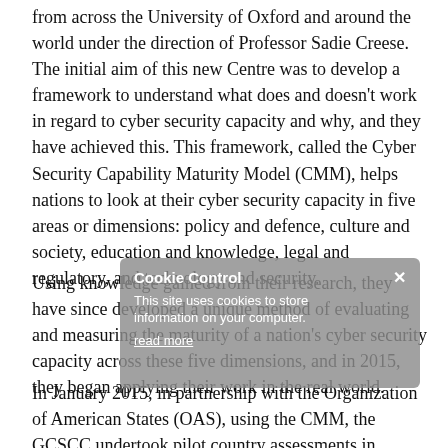from across the University of Oxford and around the world under the direction of Professor Sadie Creese. The initial aim of this new Centre was to develop a framework to understand what does and doesn't work in regard to cyber security capacity and why, and they have achieved this. This framework, called the Cyber Security Capability Maturity Model (CMM), helps nations to look at their cyber security capacity in five areas or dimensions: policy and defence, culture and society, education and knowledge, legal and regulatory, and technology and security.
Using knowledge gained from their research, they have since developed a unique method of evaluating and measuring the maturity of a nation's cyber security capacity across these five dimensions, and in 2015, they began applying their work in the real world.
In January 2015, in partnership with the Organization of American States (OAS), using the CMM, the GCSCC undertook pilot country assessments in Jamaica and